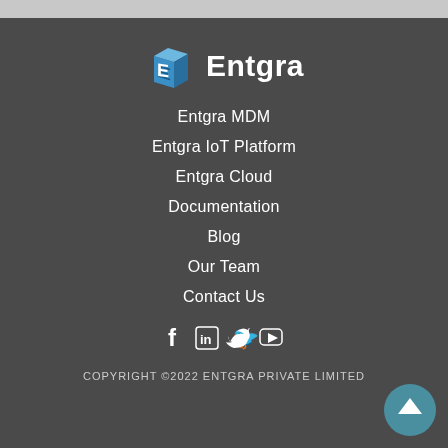[Figure (logo): Entgra logo: blue 3D cube-like icon with letter E, next to the word Entgra in white bold text]
Entgra MDM
Entgra IoT Platform
Entgra Cloud
Documentation
Blog
Our Team
Contact Us
[Figure (illustration): Social media icons: Facebook, LinkedIn, Twitter, YouTube in white]
COPYRIGHT ©2022 ENTGRA PRIVATE LIMITED